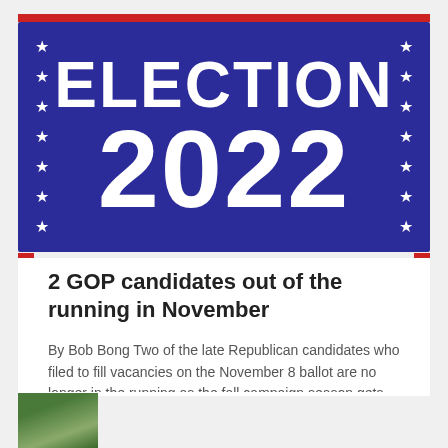[Figure (illustration): Election 2022 banner graphic with dark blue/purple background, white stars on left and right sides, large white bold text reading 'ELECTION' on top and '2022' below, with red stripe above]
2 GOP candidates out of the running in November
By Bob Bong Two of the late Republican candidates who filed to fill vacancies on the November 8 ballot are no longer in the running as the fall campaign season gets ready to start up after Labor Day. At the end of July, Cook County Republicans, led by Palos Park's Sean Morrison, filed a host…
[Figure (photo): Partial photo visible at bottom left showing green trees or foliage]